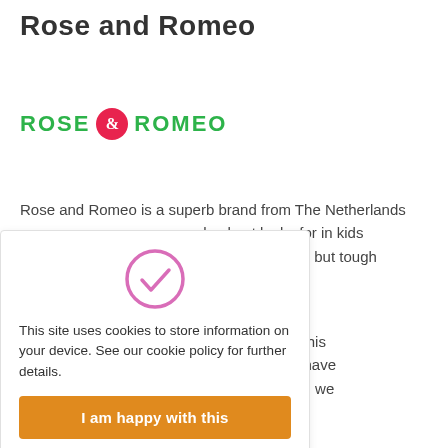Rose and Romeo
[Figure (logo): Rose & Romeo brand logo with green text ROSE and ROMEO and a red circle containing a white ampersand]
Rose and Romeo is a superb brand from The Netherlands ...hechest looks for in kids ...at design, pretty but tough ...njoy.
[Figure (other): Cookie consent overlay with a pink checkmark circle icon, message about cookies, and an orange 'I am happy with this' button]
...ading UK stockist of this ...can be confident we have ...heir wide range which we